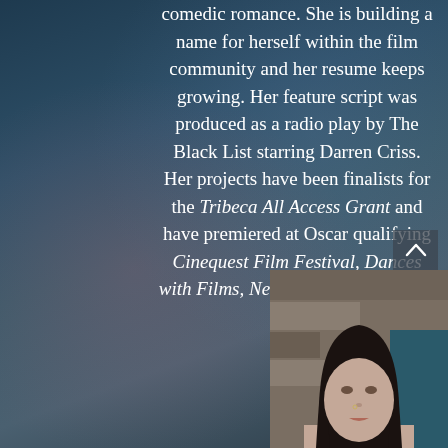comedic romance. She is building a name for herself within the film community and her resume keeps growing. Her feature script was produced as a radio play by The Black List starring Darren Criss. Her projects have been finalists for the Tribeca All Access Grant and have premiered at Oscar qualifying Cinequest Film Festival, Dances with Films, NewFest, & many more.
[Figure (photo): Portrait photo of a woman with dark straight hair, looking upward, with a stone or brick wall background]